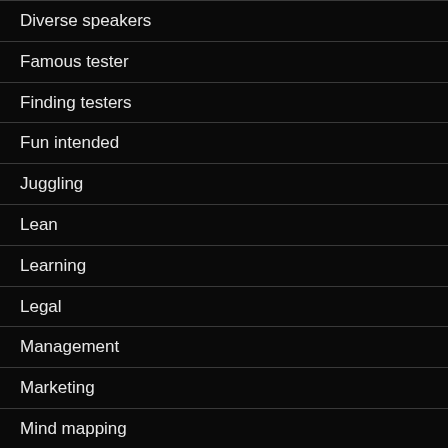Diverse speakers
Famous tester
Finding testers
Fun intended
Juggling
Lean
Learning
Legal
Management
Marketing
Mind mapping
Mind trick